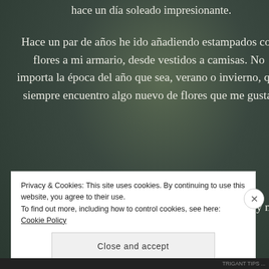hace un día soleado impresionante.
Hace un par de años he ido añadiendo estampados con flores a mi armario, desde vestidos a camisas. No importa la época del año que sea, verano o invierno, que siempre encuentro algo nuevo de flores que me gusta.
Y este vestido lo vi online en las rebajas de verano y no pude resistirme!
Privacy & Cookies: This site uses cookies. By continuing to use this website, you agree to their use.
To find out more, including how to control cookies, see here: Cookie Policy
Close and accept